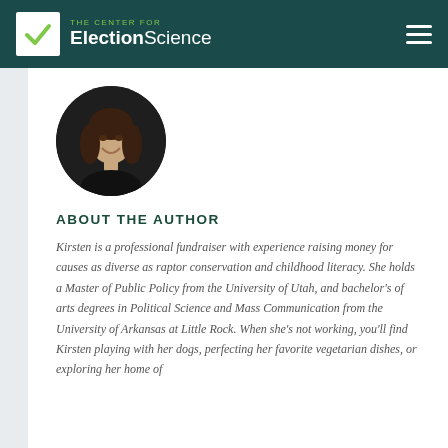THE CENTER FOR ElectionScience
[Figure (photo): Circular headshot photo of Kirsten, a woman with dark hair, smiling, against a dark background.]
ABOUT THE AUTHOR
Kirsten is a professional fundraiser with experience raising money for causes as diverse as raptor conservation and childhood literacy. She holds a Master of Public Policy from the University of Utah, and bachelor's of arts degrees in Political Science and Mass Communication from the University of Arkansas at Little Rock. When she's not working, you'll find Kirsten playing with her dogs, perfecting her favorite vegetarian dishes, or exploring her home of